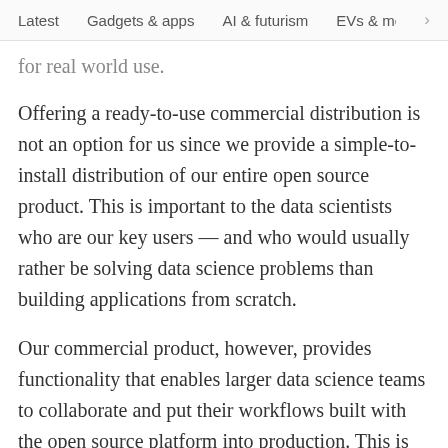Latest   Gadgets & apps   AI & futurism   EVs & mobil  >
for real world use.
Offering a ready-to-use commercial distribution is not an option for us since we provide a simple-to-install distribution of our entire open source product. This is important to the data scientists who are our key users — and who would usually rather be solving data science problems than building applications from scratch.
Our commercial product, however, provides functionality that enables larger data science teams to collaborate and put their workflows built with the open source platform into production. This is all functionality that an individual user of the open source platform does not have access to with